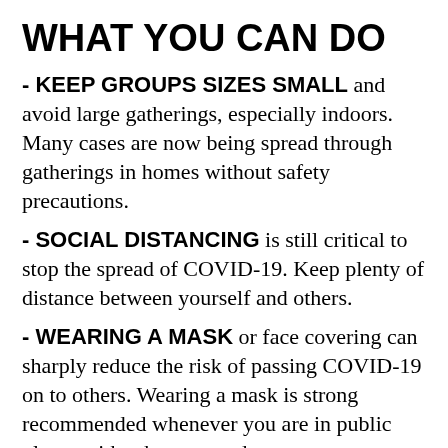WHAT YOU CAN DO
- KEEP GROUPS SIZES SMALL and avoid large gatherings, especially indoors. Many cases are now being spread through gatherings in homes without safety precautions.
- SOCIAL DISTANCING is still critical to stop the spread of COVID-19. Keep plenty of distance between yourself and others.
- WEARING A MASK or face covering can sharply reduce the risk of passing COVID-19 on to others. Wearing a mask is strong recommended whenever you are in public places with others around you.
- Most people spreading COVID-19 DO NOT KNOW they are infected